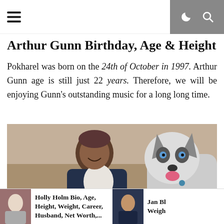Arthur Gunn Birthday, Age & Height
Arthur Gunn Birthday, Age & Height
Pokharel was born on the 24th of October in 1997. Arthur Gunn age is still just 22 years. Therefore, we will be enjoying Gunn’s outstanding music for a long long time.
[Figure (photo): Arthur Gunn smiling and posing with a Siberian Husky dog on a couch.]
Holly Holm Bio, Age, Height, Weight, Career, Husband, Net Worth,...
Jan Bl Weigh